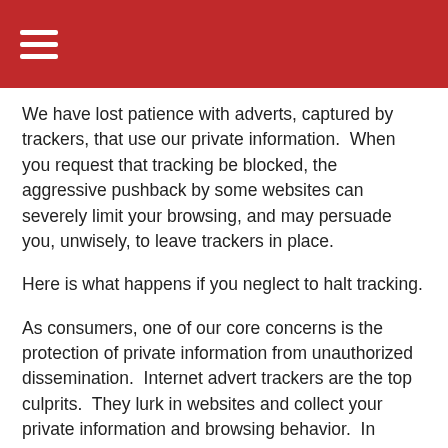We have lost patience with adverts, captured by trackers, that use our private information.  When you request that tracking be blocked, the aggressive pushback by some websites can severely limit your browsing, and may persuade you, unwisely, to leave trackers in place.
Here is what happens if you neglect to halt tracking.
As consumers, one of our core concerns is the protection of private information from unauthorized dissemination.  Internet advert trackers are the top culprits.  They lurk in websites and collect your private information and browsing behavior.  In effect, they sell that information to advertisers who start a firehose of promotional materials aimed directly at you.
An extensive collection of your private information is